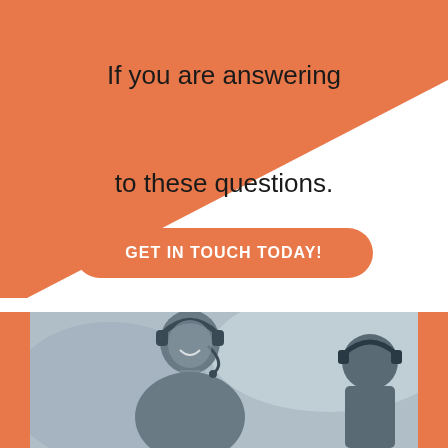[Figure (infographic): Orange triangle shape on left side of white background upper section]
If you are answering
YES
to these questions.
GET IN TOUCH TODAY!
[Figure (photo): Grayscale/blue-tinted photo of a smiling woman wearing a headset, customer service agent, with another person visible on the right side, framed by orange vertical bars on left and right edges]